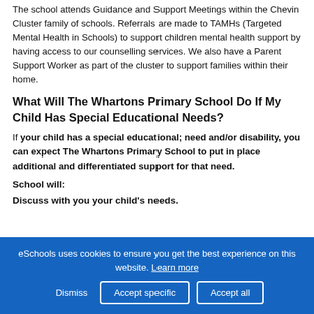The school attends Guidance and Support Meetings within the Chevin Cluster family of schools. Referrals are made to TAMHs (Targeted Mental Health in Schools) to support children mental health support by having access to our counselling services. We also have a Parent Support Worker as part of the cluster to support families within their home.
What Will The Whartons Primary School Do If My Child Has Special Educational Needs?
If your child has a special educational; need and/or disability, you can expect The Whartons Primary School to put in place additional and differentiated support for that need.
School will:
Discuss with you your child's needs.
eSchools uses cookies to ensure you get the best experience on this website. Learn more